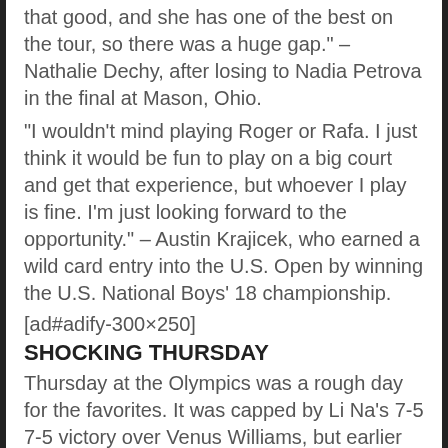that good, and she has one of the best on the tour, so there was a huge gap." – Nathalie Dechy, after losing to Nadia Petrova in the final at Mason, Ohio.
"I wouldn't mind playing Roger or Rafa. I just think it would be fun to play on a big court and get that experience, but whoever I play is fine. I'm just looking forward to the opportunity." – Austin Krajicek, who earned a wild card entry into the U.S. Open by winning the U.S. National Boys' 18 championship.
[ad#adify-300×250]
SHOCKING THURSDAY
Thursday at the Olympics was a rough day for the favorites. It was capped by Li Na's 7-5 7-5 victory over Venus Williams, but earlier the same day Serena Williams was sidelined by